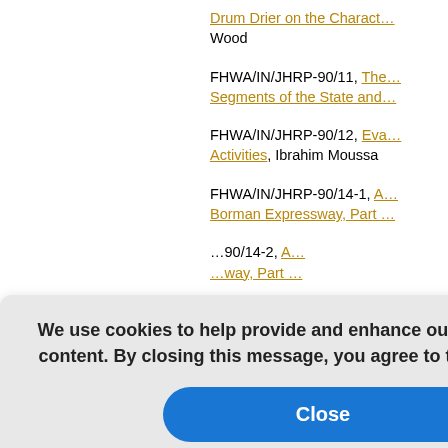Drum Drier on the Charact… Wood
FHWA/IN/JHRP-90/11, The… Segments of the State and…
FHWA/IN/JHRP-90/12, Eva… Activities, Ibrahim Moussa
FHWA/IN/JHRP-90/14-1, A… Borman Expressway, Part …
FHWA/IN/JHRP-90/14-2, A… way, Part …
…orts from…
FHWA/IN/JHRP-89/01, Eng…
FHWA/IN/JHRP-89/02, Tra…
We use cookies to help provide and enhance our service and tailor content. By closing this message, you agree to the use of cookies.